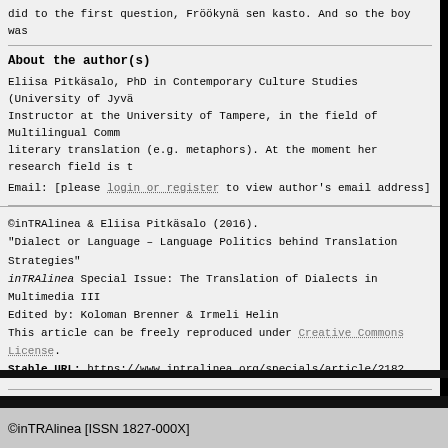did to the first question, Fröökynä sen kasto. And so the boy was
About the author(s)
Eliisa Pitkäsalo, PhD in Contemporary Culture Studies (University of Jyväskylä), is a University Teacher/Instructor at the University of Tampere, in the field of Multilingual Communication. Her main research areas are literary translation (e.g. metaphors). At the moment her research field is t
Email: [please login or register to view author's email address]
©inTRAlinea & Eliisa Pitkäsalo (2016).
"Dialect or Language – Language Politics behind Translation Strategies"
inTRAlinea Special Issue: The Translation of Dialects in Multimedia III
Edited by: Koloman Brenner & Irmeli Helin
This article can be freely reproduced under Creative Commons License.
Stable URL: https://www.intralinea.org/specials/article/2182
©inTRAlinea [ISSN 1827-000X]